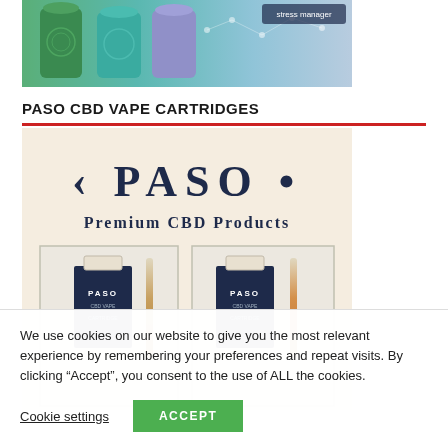[Figure (photo): Partial view of colorful CBD product bottles/canisters in green, teal, and light purple/lavender colors on a light background]
PASO CBD VAPE CARTRIDGES
[Figure (photo): PASO Premium CBD Products brand image showing the PASO logo and two product packages with vape cartridges on a beige/cream background]
We use cookies on our website to give you the most relevant experience by remembering your preferences and repeat visits. By clicking “Accept”, you consent to the use of ALL the cookies.
Cookie settings
ACCEPT